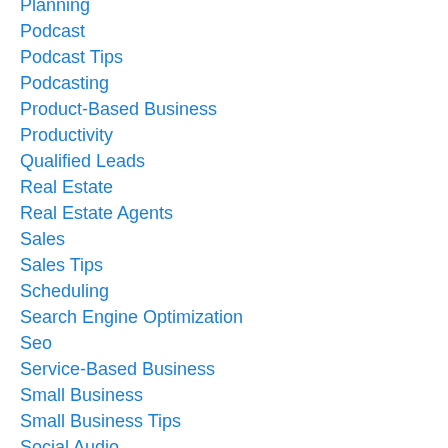Planning
Podcast
Podcast Tips
Podcasting
Product-Based Business
Productivity
Qualified Leads
Real Estate
Real Estate Agents
Sales
Sales Tips
Scheduling
Search Engine Optimization
Seo
Service-Based Business
Small Business
Small Business Tips
Social Audio